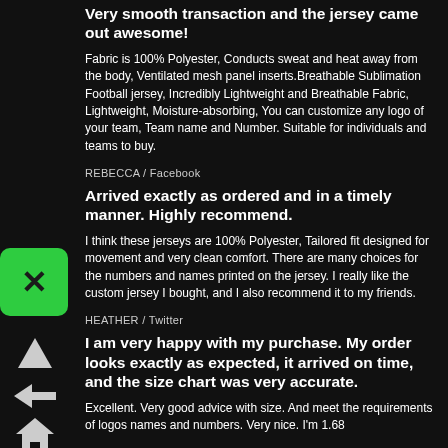Very smooth transaction and the jersey came out awesome!
Fabric is 100% Polyester, Conducts sweat and heat away from the body, Ventilated mesh panel inserts.Breathable Sublimation Football jersey, Incredibly Lightweight and Breathable Fabric, Lightweight, Moisture-absorbing, You can customize any logo of your team, Team name and Number. Suitable for individuals and teams to buy.
REBECCA / Facebook
Arrived exactly as ordered and in a timely manner. Highly recommend.
I think these jerseys are 100% Polyester, Tailored fit designed for movement and very clean comfort. There are many choices for the numbers and names printed on the jersey. I really like the custom jersey I bought, and I also recommend it to my friends.
HEATHER / Twitter
I am very happy with my purchase. My order looks exactly as expected, it arrived on time, and the size chart was very accurate.
Excellent. Very good advice with size. And meet the requirements of logos names and numbers. Very nice. I'm 1.68